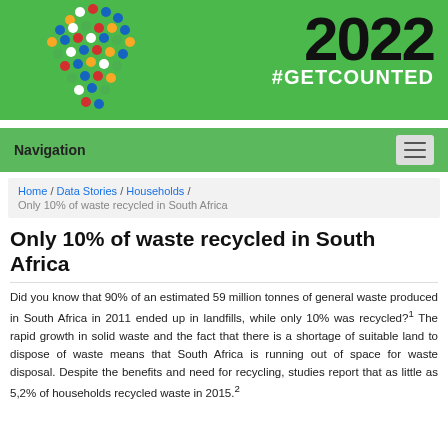[Figure (illustration): Green banner with South Africa map made of colourful people icons on the left, large '2022' text and '#GETCOUNTED' on the right]
Navigation
Home / Data Stories / Households / Only 10% of waste recycled in South Africa
Only 10% of waste recycled in South Africa
Did you know that 90% of an estimated 59 million tonnes of general waste produced in South Africa in 2011 ended up in landfills, while only 10% was recycled?¹ The rapid growth in solid waste and the fact that there is a shortage of suitable land to dispose of waste means that South Africa is running out of space for waste disposal. Despite the benefits and need for recycling, studies report that as little as 5,2% of households recycled waste in 2015.²